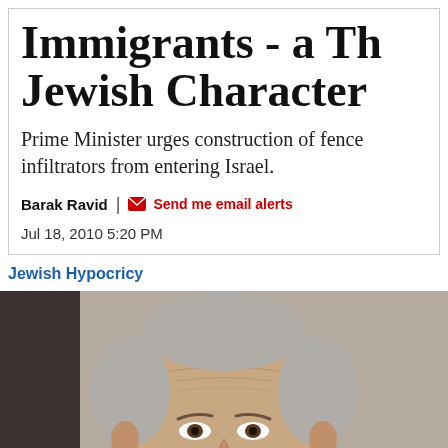Immigrants - a Th... Jewish Character
Prime Minister urges construction of fence... infiltrators from entering Israel.
Barak Ravid | Send me email alerts
Jul 18, 2010 5:20 PM
Jewish Hypocricy
[Figure (photo): Close-up portrait of an older man with gray hair and wrinkled forehead against a light background.]